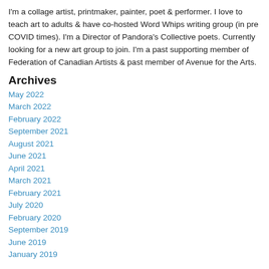I'm a collage artist, printmaker, painter, poet & performer. I love to teach art to adults & have co-hosted Word Whips writing group (in pre COVID times). I'm a Director of Pandora's Collective poets. Currently looking for a new art group to join. I'm a past supporting member of Federation of Canadian Artists & past member of Avenue for the Arts.
Archives
May 2022
March 2022
February 2022
September 2021
August 2021
June 2021
April 2021
March 2021
February 2021
July 2020
February 2020
September 2019
June 2019
January 2019